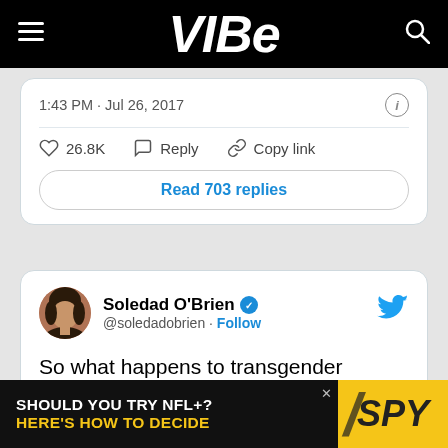VIBE
1:43 PM · Jul 26, 2017
26.8K   Reply   Copy link
Read 703 replies
Soledad O'Brien @soledadobrien · Follow
So what happens to transgender servicemen and women--already serving? If they now are prohibited from serving 'in any capacity'?
[Figure (screenshot): Advertisement banner: SHOULD YOU TRY NFL+? HERE'S HOW TO DECIDE with SPY logo]